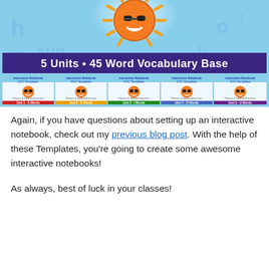[Figure (illustration): Educational product banner showing a smiling sun mascot character above a purple banner reading '5 Units • 45 Word Vocabulary Base', with five unit covers below for Unit 1 A Words (red), Unit 2 E Words (yellow), Unit 3 I Words (green), Unit 4 O Words (purple/blue), Unit 5 U Words (purple), each showing Interactive Notebook CVC Templates with a sun mascot and Phonics & Spelling Exercises label.]
Again, if you have questions about setting up an interactive notebook, check out my previous blog post. With the help of these Templates, you're going to create some awesome interactive notebooks!
As always, best of luck in your classes!